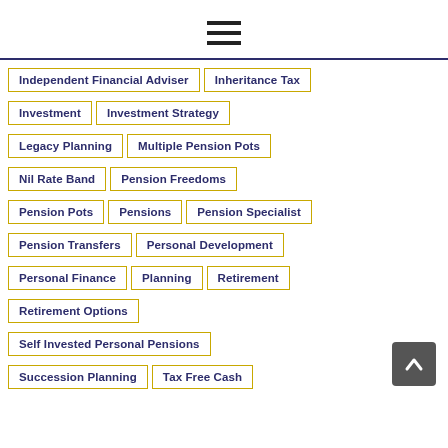[Figure (other): Hamburger menu icon (three horizontal lines)]
Independent Financial Adviser
Inheritance Tax
Investment
Investment Strategy
Legacy Planning
Multiple Pension Pots
Nil Rate Band
Pension Freedoms
Pension Pots
Pensions
Pension Specialist
Pension Transfers
Personal Development
Personal Finance
Planning
Retirement
Retirement Options
Self Invested Personal Pensions
Succession Planning
Tax Free Cash